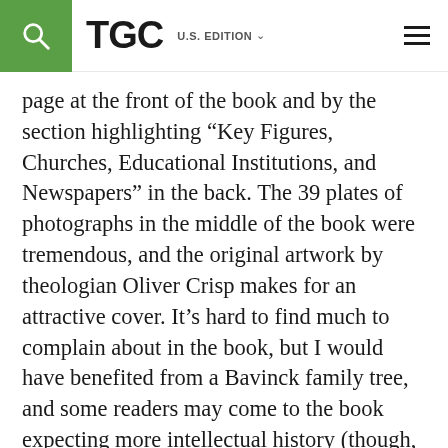TGC U.S. EDITION
page at the front of the book and by the section highlighting “Key Figures, Churches, Educational Institutions, and Newspapers” in the back. The 39 plates of photographs in the middle of the book were tremendous, and the original artwork by theologian Oliver Crisp makes for an attractive cover. It’s hard to find much to complain about in the book, but I would have benefited from a Bavinck family tree, and some readers may come to the book expecting more intellectual history (though, personally, I was glad Eglinton stuck to biography more than the theological exploration).